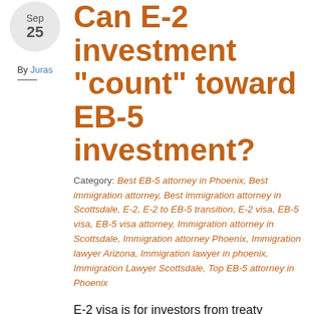Sep 25
By Juras
Can E-2 investment “count” toward EB-5 investment?
Category: Best EB-5 attorney in Phoenix, Best immigration attorney, Best immigration attorney in Scottsdale, E-2, E-2 to EB-5 transition, E-2 visa, EB-5 visa, EB-5 visa attorney, Immigration attorney in Scottsdale, Immigration attorney Phoenix, Immigration lawyer Arizona, Immigration lawyer in phoenix, Immigration Lawyer Scottsdale, Top EB-5 attorney in Phoenix
E-2 visa is for investors from treaty countries who invest “substantial” amount of capital into a US business. E-2 visa allows them to manage that business. E-2 visa has to be renewed every few years, depending on the treaty. A major downside of E-2 visa and a